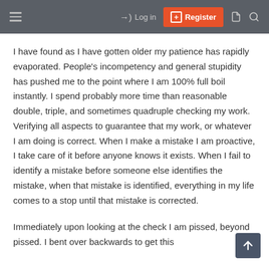≡  →) Log in  [+] Register  📄  🔍
I have found as I have gotten older my patience has rapidly evaporated. People's incompetency and general stupidity has pushed me to the point where I am 100% full boil instantly. I spend probably more time than reasonable double, triple, and sometimes quadruple checking my work. Verifying all aspects to guarantee that my work, or whatever I am doing is correct. When I make a mistake I am proactive, I take care of it before anyone knows it exists. When I fail to identify a mistake before someone else identifies the mistake, when that mistake is identified, everything in my life comes to a stop until that mistake is corrected.
Immediately upon looking at the check I am pissed, beyond pissed. I bent over backwards to get this